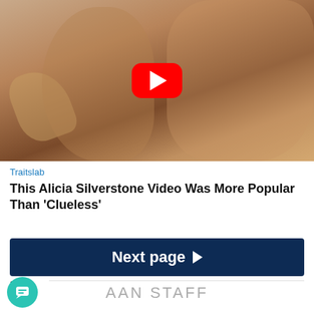[Figure (photo): Screenshot of a video thumbnail showing two people laughing, with a YouTube play button overlay in red in the center]
Traitslab
This Alicia Silverstone Video Was More Popular Than 'Clueless'
Next page ▶
2
AAN STAFF